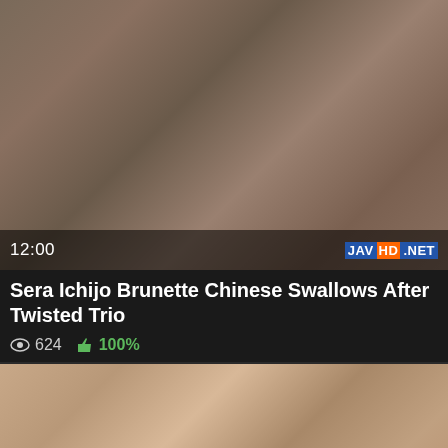[Figure (screenshot): Video thumbnail showing people, duration 12:00 displayed bottom-left, JAVHD.NET watermark bottom-right]
Sera Ichijo Brunette Chinese Swallows After Twisted Trio
624 views, 100% likes
[Figure (screenshot): Second video thumbnail, partially visible, with red scroll-to-top button overlay]